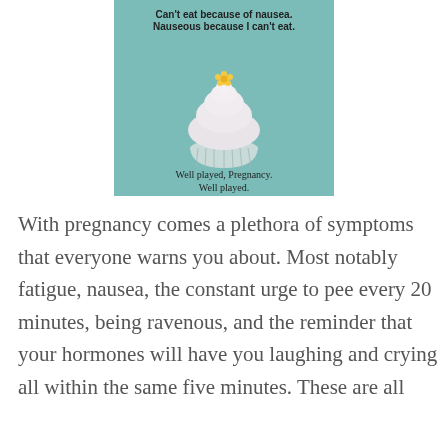[Figure (illustration): Teal/mint colored square image with a cupcake illustration. Top text in bold dark letters: 'Can't eat because of nausea. Nauseous because I can't eat.' Bottom text: 'Well played, Pregnancy. Well played.' Cupcake has white frosting with a yellow flower on top.]
With pregnancy comes a plethora of symptoms that everyone warns you about. Most notably fatigue, nausea, the constant urge to pee every 20 minutes, being ravenous, and the reminder that your hormones will have you laughing and crying all within the same five minutes. These are all